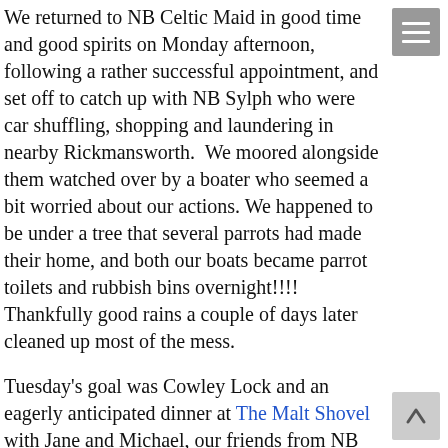We returned to NB Celtic Maid in good time and good spirits on Monday afternoon, following a rather successful appointment, and set off to catch up with NB Sylph who were car shuffling, shopping and laundering in nearby Rickmansworth.  We moored alongside them watched over by a boater who seemed a bit worried about our actions. We happened to be under a tree that several parrots had made their home, and both our boats became parrot toilets and rubbish bins overnight!!!! Thankfully good rains a couple of days later cleaned up most of the mess.
Tuesday's goal was Cowley Lock and an eagerly anticipated dinner at The Malt Shovel with Jane and Michael, our friends from NB Moody Blues. Just as we reached the lock under a downpour and thunderstorm, Michael wandered along and  gave us a hand to moor in front of Moody Blues. They had just been through